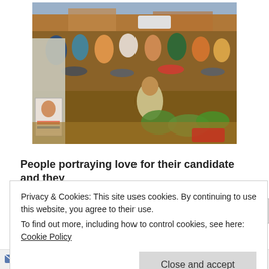[Figure (photo): A crowded street scene with many people on motorcycles and vehicles, likely a political rally or campaign procession. A vehicle with a campaign poster is visible on the left side.]
People portraying love for their candidate and they
Privacy & Cookies: This site uses cookies. By continuing to use this website, you agree to their use.
To find out more, including how to control cookies, see here: Cookie Policy
Close and accept
Follow ···